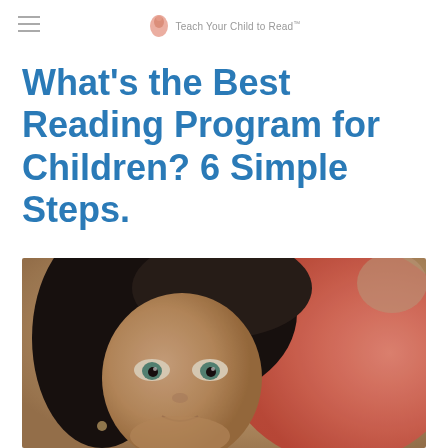Teach Your Child to Read™
What's the Best Reading Program for Children? 6 Simple Steps.
[Figure (photo): A young dark-haired girl with blue-green eyes looking sideways, with an adult in a red/coral top partially visible behind her]